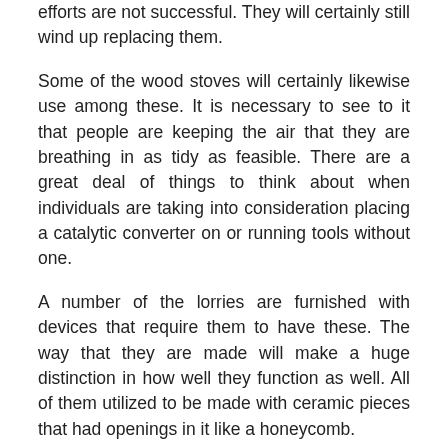efforts are not successful. They will certainly still wind up replacing them.
Some of the wood stoves will certainly likewise use among these. It is necessary to see to it that people are keeping the air that they are breathing in as tidy as feasible. There are a great deal of things to think about when individuals are taking into consideration placing a catalytic converter on or running tools without one.
A number of the lorries are furnished with devices that require them to have these. The way that they are made will make a huge distinction in how well they function as well. All of them utilized to be made with ceramic pieces that had openings in it like a honeycomb.
This piece would accumulate the hazardous contaminants that were going to be released into the air by the devices. They have a new method for doing this currently. Not every one of them utilize the ceramic items any longer.